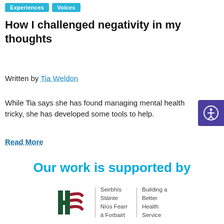Experiences | Voices
How I challenged negativity in my thoughts
Written by Tia Weldon
While Tia says she has found managing mental health tricky, she has developed some tools to help.
Read More
Our work is supported by
[Figure (logo): HSE logo — stylized H and E letters in dark green and red, with text: Seirbhís Sláinte Níos Fearr á Forbairt | Building a Better Health Service]